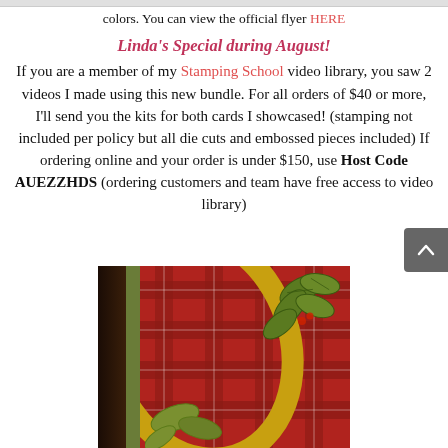colors. You can view the official flyer HERE
Linda's Special during August!
If you are a member of my Stamping School video library, you saw 2 videos I made using this new bundle. For all orders of $40 or more, I'll send you the kits for both cards I showcased! (stamping not included per policy but all die cuts and embossed pieces included) If ordering online and your order is under $150, use Host Code AUEZZHDS (ordering customers and team have free access to video library)
[Figure (photo): Close-up photo of a Christmas card featuring a gold oval frame with holly leaves on a red plaid background, with a green card edge visible on the left]